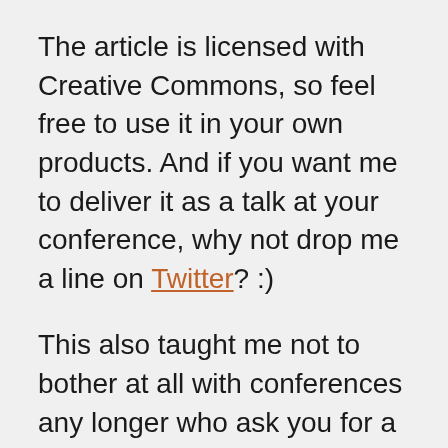The article is licensed with Creative Commons, so feel free to use it in your own products. And if you want me to deliver it as a talk at your conference, why not drop me a line on Twitter? :)
This also taught me not to bother at all with conferences any longer who ask you for a full paper as a submission, especially when they are academic conferences. The reviews I got for this were quite harsh and missed the point that I was trying to make that we are treading new ground here and there is no way to build on earlier successes or quote case studies.
I hope it is useful to you, and I'd love to get